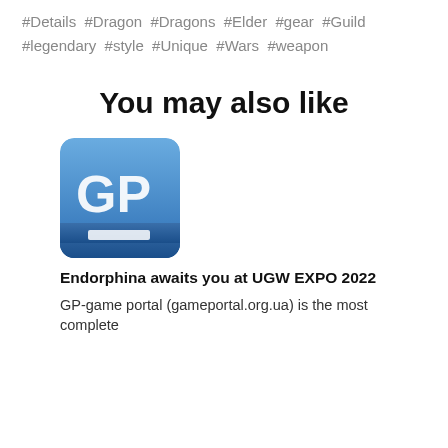#Details #Dragon #Dragons #Elder #gear #Guild #legendary #style #Unique #Wars #weapon
You may also like
[Figure (logo): Blue square GP logo for GP-game portal (gameportal.org.ua)]
Endorphina awaits you at UGW EXPO 2022
GP-game portal (gameportal.org.ua) is the most complete